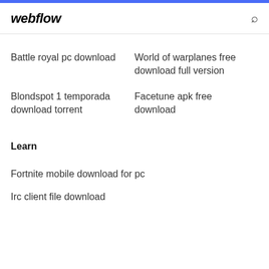webflow
Battle royal pc download
World of warplanes free download full version
Blondspot 1 temporada download torrent
Facetune apk free download
Learn
Fortnite mobile download for pc
Irc client file download